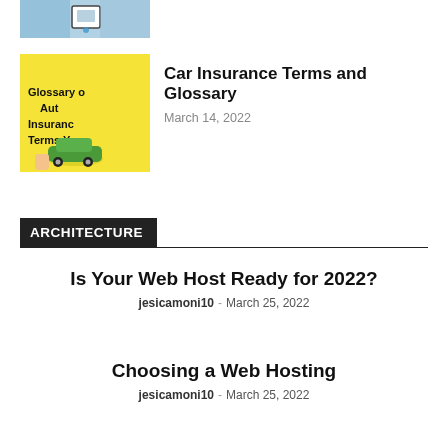[Figure (photo): Partial top image visible – blue toned photo with a person and a device/card]
[Figure (illustration): Yellow background thumbnail with bold text reading 'Glossary of Auto Insurance Terms You' and a small green car illustration]
Car Insurance Terms and Glossary
March 14, 2022
ARCHITECTURE
Is Your Web Host Ready for 2022?
jesicamoni10 · March 25, 2022
Choosing a Web Hosting
jesicamoni10 · March 25, 2022